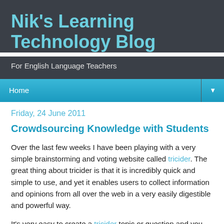Nik's Learning Technology Blog
For English Language Teachers
Home ▼
Friday, 24 June 2011
Crowdsourcing Knowledge with Students
Over the last few weeks I have been playing with a very simple brainstorming and voting website called tricider. The great thing about tricider is that it is incredibly quick and simple to use, and yet it enables users to collect information and opinions from all over the web in a very easily digestible and powerful way.
It's very easy to create a tricider topic or question and you